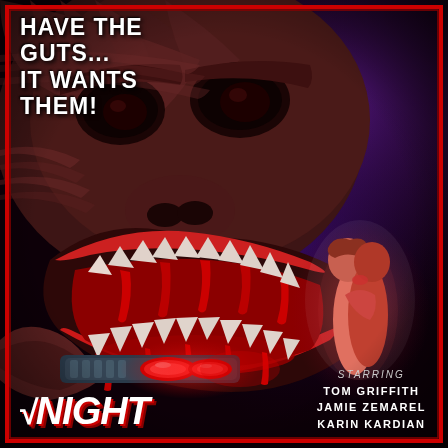[Figure (illustration): Horror movie poster illustration featuring a large grotesque monster with fanged open mouth dripping blood, menacing eyes, holding a futuristic gun with glowing red barrel, and a couple embracing in purple atmospheric smoke on the right side. Dark red and purple color palette.]
HAVE THE GUTS... IT WANTS THEM!
NIGHT
STARRING TOM GRIFFITH JAMIE ZEMAREL KARIN KARDIAN